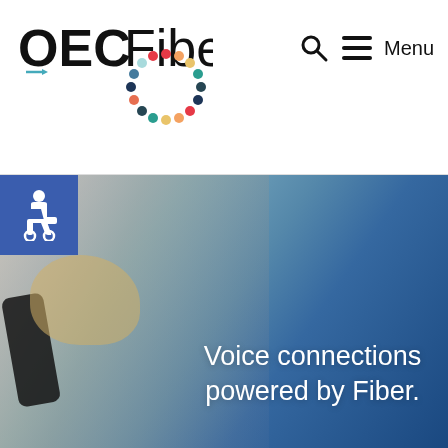[Figure (logo): OEC Fiber logo with colorful dot ring and OEC bold text and Fiber light text]
[Figure (illustration): Search icon (magnifying glass) and hamburger menu icon with Menu text in navigation header]
[Figure (photo): Hero image of a woman on a phone with a young girl beside her, overlaid with blue gradient and white text reading Voice connections powered by Fiber. Accessibility icon in blue box top left.]